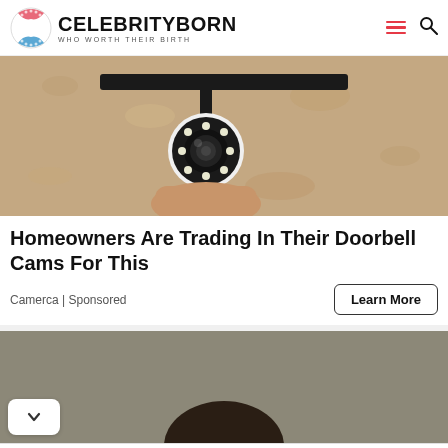CELEBRITYBORN WHO WORTH THEIR BIRTH
[Figure (photo): Security camera mounted on a wall, close-up view showing a round white camera head with LED ring, attached to a black bracket on a textured wall]
Homeowners Are Trading In Their Doorbell Cams For This
Camerca | Sponsored
Learn More
[Figure (photo): Partial view of a person's head with dark hair against a gray-brown background]
Get Jazzed in Rosslyn
Cimafunk will take the stage with three other jazz acts at Gateway Park Rosslyn BID
Open